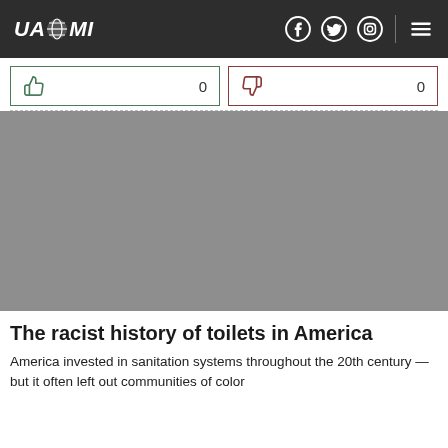UAZMI
[Figure (other): Gray placeholder image for article about racist history of toilets in America]
The racist history of toilets in America
America invested in sanitation systems throughout the 20th century — but it often left out communities of color